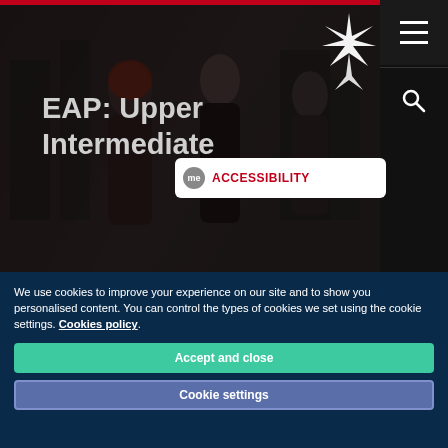[Figure (screenshot): Website screenshot showing EAP: Upper Intermediate course page with hero image of students, dark navigation bar with logo and hamburger menu, accessibility badge, and cookie consent banner]
EAP: Upper Intermediate
We use cookies to improve your experience on our site and to show you personalised content. You can control the types of cookies we set using the cookie settings. Cookies policy
Accept and close
Cookie settings